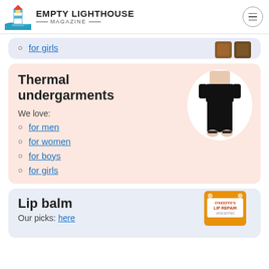EMPTY LIGHTHOUSE MAGAZINE
for girls
Thermal undergarments
We love:
for men
for women
for boys
for girls
Lip balm
Our picks: here